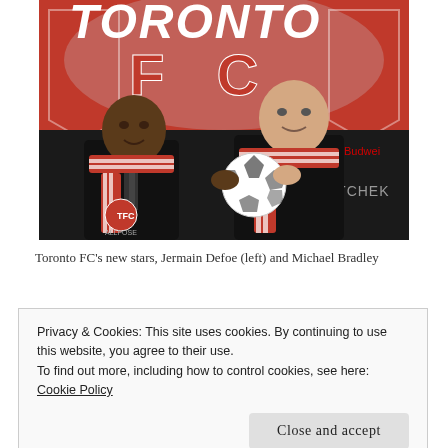[Figure (photo): Two men standing in front of a Toronto FC banner/logo backdrop, both wearing red and white Toronto FC scarves. The man on the left is darker-skinned, wearing a dark suit and tie. The man on the right is lighter-skinned, holding a soccer ball. Sponsor logos including PortChek and Budweiser are visible in the background.]
Toronto FC's new stars, Jermain Defoe (left) and Michael Bradley
Why Toronto FC...
Privacy & Cookies: This site uses cookies. By continuing to use this website, you agree to their use.
To find out more, including how to control cookies, see here: Cookie Policy
Close and accept
has been a missing to clean and commute to top pl...